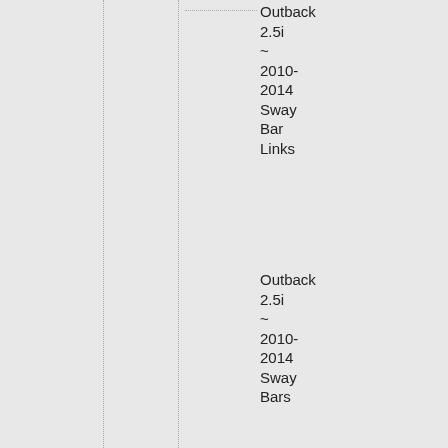Outback 2.5i ~ 2010-2014 Sway Bar Links
Outback 2.5i ~ 2010-2014 Sway Bars
Outback 2.5i ~ 2010-2014 Tools
Outback 2.5i ~ 2010-2014 Engine Build Tools
Outback 2.5i ~ 2010-2014